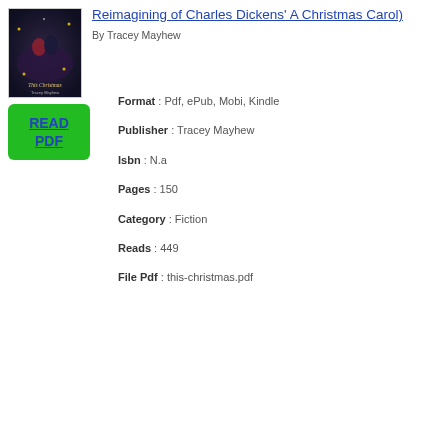[Figure (illustration): Book cover for 'This Christmas' by Tracey Mayhew showing a romantic couple with Christmas lights in the background]
Reimagining of Charles Dickens' A Christmas Carol)
By Tracey Mayhew
[Figure (other): Green READ PDF button]
Format : Pdf, ePub, Mobi, Kindle
Publisher : Tracey Mayhew
Isbn : N.a
Pages : 150
Category : Fiction
Reads : 449
File Pdf : this-christmas.pdf